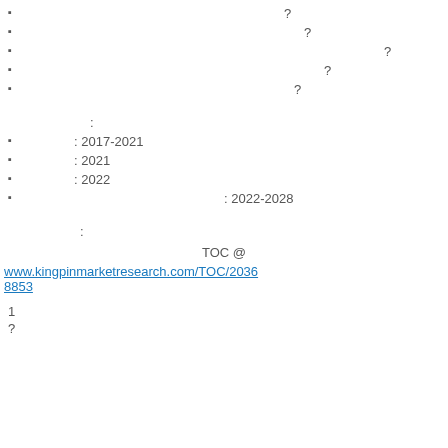?
?
?
?
?
:
: 2017-2021
: 2021
: 2022
: 2022-2028
:
TOC @
www.kingpinmarketresearch.com/TOC/20368853
1
?